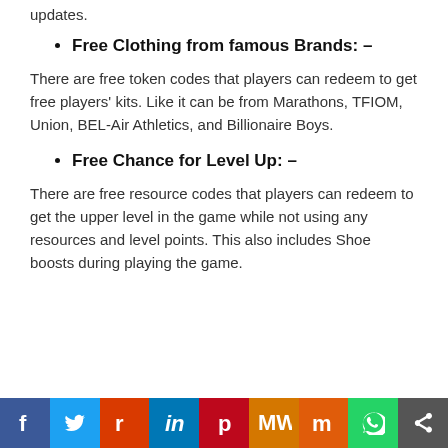updates.
Free Clothing from famous Brands: –
There are free token codes that players can redeem to get free players' kits. Like it can be from Marathons, TFIOM, Union, BEL-Air Athletics, and Billionaire Boys.
Free Chance for Level Up: –
There are free resource codes that players can redeem to get the upper level in the game while not using any resources and level points. This also includes Shoe boosts during playing the game.